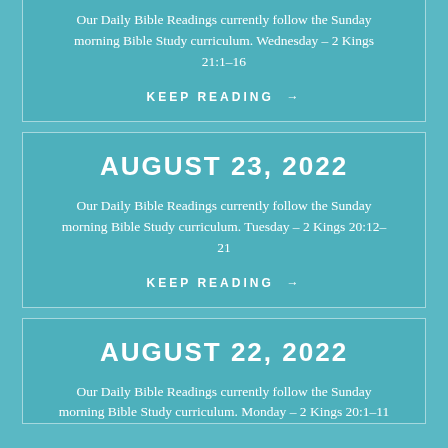Our Daily Bible Readings currently follow the Sunday morning Bible Study curriculum. Wednesday – 2 Kings 21:1–16
KEEP READING →
AUGUST 23, 2022
Our Daily Bible Readings currently follow the Sunday morning Bible Study curriculum. Tuesday – 2 Kings 20:12–21
KEEP READING →
AUGUST 22, 2022
Our Daily Bible Readings currently follow the Sunday morning Bible Study curriculum. Monday – 2 Kings 20:1–11